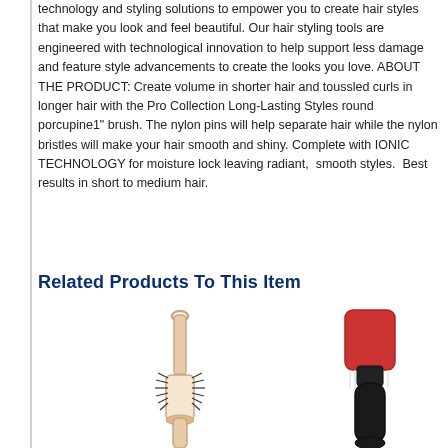technology and styling solutions to empower you to create hair styles that make you look and feel beautiful. Our hair styling tools are engineered with technological innovation to help support less damage and feature style advancements to create the looks you love. ABOUT THE PRODUCT: Create volume in shorter hair and toussled curls in longer hair with the Pro Collection Long-Lasting Styles round porcupine1" brush. The nylon pins will help separate hair while the nylon bristles will make your hair smooth and shiny. Complete with IONIC TECHNOLOGY for moisture lock leaving radiant,  smooth styles.  Best results in short to medium hair.
Related Products To This Item
[Figure (photo): Round barrel hair brush with rose gold handle and black bristles]
[Figure (photo): Red and black detangling hair brush with black handle]